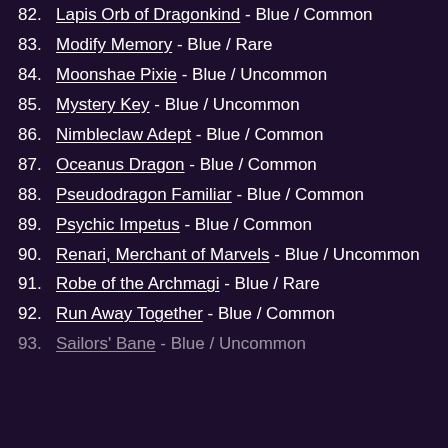82. Lapis Orb of Dragonkind - Blue / Common
83. Modify Memory - Blue / Rare
84. Moonshae Pixie - Blue / Uncommon
85. Mystery Key - Blue / Uncommon
86. Nimbleclaw Adept - Blue / Common
87. Oceanus Dragon - Blue / Common
88. Pseudodragon Familiar - Blue / Common
89. Psychic Impetus - Blue / Common
90. Renari, Merchant of Marvels - Blue / Uncommon
91. Robe of the Archmagi - Blue / Rare
92. Run Away Together - Blue / Common
93. Sailors' Bane - Blue / Uncommon